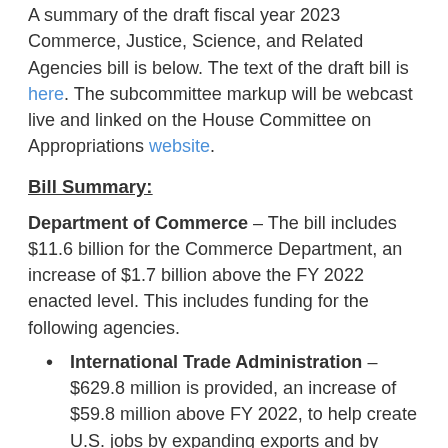A summary of the draft fiscal year 2023 Commerce, Justice, Science, and Related Agencies bill is below. The text of the draft bill is here. The subcommittee markup will be webcast live and linked on the House Committee on Appropriations website.
Bill Summary:
Department of Commerce – The bill includes $11.6 billion for the Commerce Department, an increase of $1.7 billion above the FY 2022 enacted level. This includes funding for the following agencies.
International Trade Administration – $629.8 million is provided, an increase of $59.8 million above FY 2022, to help create U.S. jobs by expanding exports and by fighting the